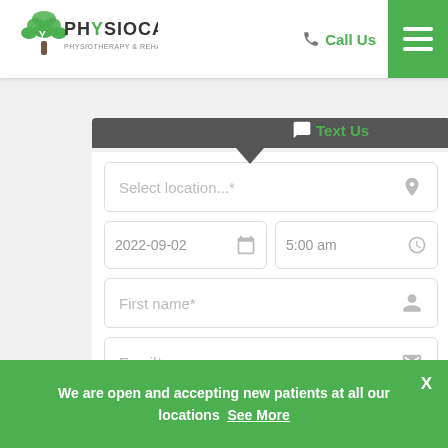[Figure (logo): PhysioCare Physiotherapy & Rehab Centre logo with green tree icon]
Call Us
[Figure (screenshot): Hamburger menu icon on green background]
Text Us
Select location...*
2022-09-02
5:00 am
First name*
Email*
Phone
We are open and accepting new patients at all our locations  See More